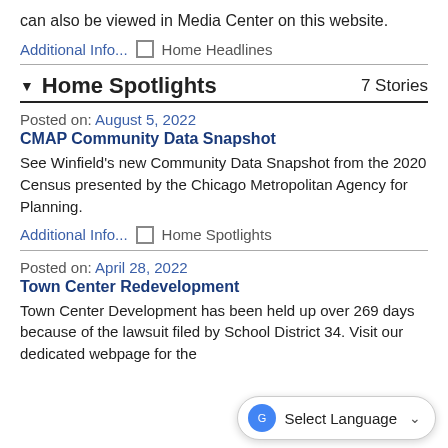can also be viewed in Media Center on this website.
Additional Info... Home Headlines
▼ Home Spotlights  7 Stories
Posted on: August 5, 2022
CMAP Community Data Snapshot
See Winfield's new Community Data Snapshot from the 2020 Census presented by the Chicago Metropolitan Agency for Planning.
Additional Info... Home Spotlights
Posted on: April 28, 2022
Town Center Redevelopment
Town Center Development has been held up over 269 days because of the lawsuit... District 34. Visit our dedicated webpage for the